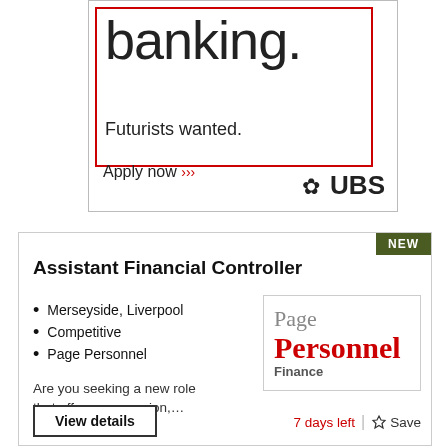[Figure (illustration): UBS bank advertisement with red border box containing 'banking.' in large text and 'Futurists wanted.' below, with 'Apply now >>>' link and UBS logo]
Assistant Financial Controller
Merseyside, Liverpool
Competitive
Page Personnel
[Figure (logo): Page Personnel Finance logo]
Are you seeking a new role that offers progression,...
View details
7 days left | ☆ Save